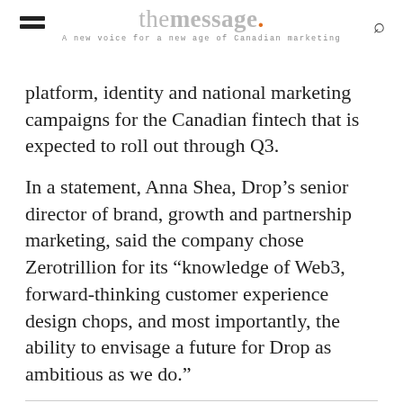the message. A new voice for a new age of Canadian marketing
platform, identity and national marketing campaigns for the Canadian fintech that is expected to roll out through Q3.
In a statement, Anna Shea, Drop’s senior director of brand, growth and partnership marketing, said the company chose Zerotrillion for its “knowledge of Web3, forward-thinking customer experience design chops, and most importantly, the ability to envisage a future for Drop as ambitious as we do.”
Promotions–Media Experts